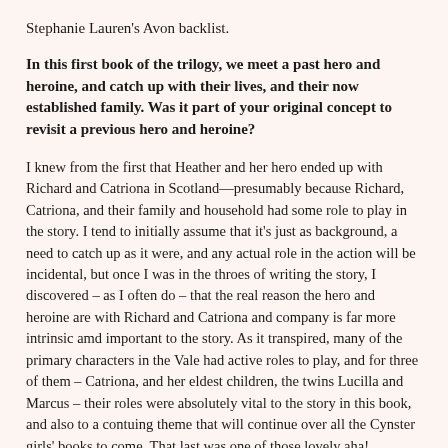Stephanie Lauren's Avon backlist.
In this first book of the trilogy, we meet a past hero and heroine, and catch up with their lives, and their now established family. Was it part of your original concept to revisit a previous hero and heroine?
I knew from the first that Heather and her hero ended up with Richard and Catriona in Scotland—presumably because Richard, Catriona, and their family and household had some role to play in the story. I tend to initially assume that it's just as background, a need to catch up as it were, and any actual role in the action will be incidental, but once I was in the throes of writing the story, I discovered – as I often do – that the real reason the hero and heroine are with Richard and Catriona and company is far more intrinsic amd important to the story. As it transpired, many of the primary characters in the Vale had active roles to play, and for three of them – Catriona, and her eldest children, the twins Lucilla and Marcus – their roles were absolutely vital to the story in this book, and also to a contuing theme that will continue over all the Cynster girls' books to come. That last was one of those lovely aha! moments in story evolution that authors live for.